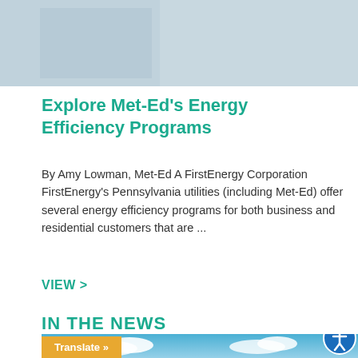[Figure (photo): Partial view of a building or structure, blue-grey toned, cropped at top of page]
Explore Met-Ed's Energy Efficiency Programs
By Amy Lowman, Met-Ed A FirstEnergy Corporation FirstEnergy's Pennsylvania utilities (including Met-Ed) offer several energy efficiency programs for both business and residential customers that are ...
VIEW  >
IN THE NEWS
[Figure (photo): Blue sky with white clouds, partial view at bottom of page, with a Translate button overlay and an accessibility icon]